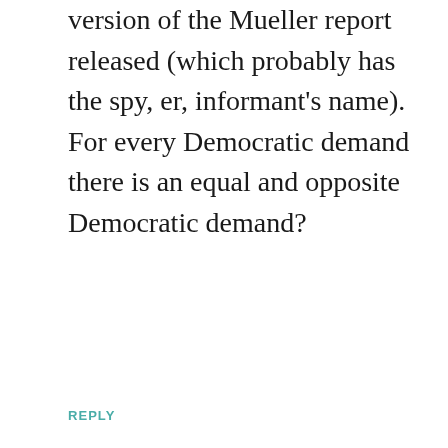version of the Mueller report released (which probably has the spy, er, informant's name). For every Democratic demand there is an equal and opposite Democratic demand?
REPLY
[Figure (photo): Circular avatar photo of Jack Marshall, a bald man wearing glasses and a dark jacket, against a light background]
Jack Marshall